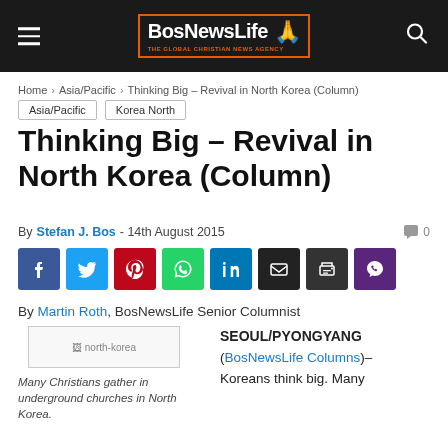BosNewsLife – The Global Christian News Agency
Home › Asia/Pacific › Thinking Big – Revival in North Korea (Column)
Asia/Pacific
Korea North
Thinking Big – Revival in North Korea (Column)
By Stefan J. Bos - 14th August 2015   0
[Figure (other): Social sharing buttons: Facebook, Twitter, Pinterest, WhatsApp, LinkedIn, Email, Print, Viber]
By Martin Roth, BosNewsLife Senior Columnist
[Figure (photo): Image placeholder for north-korea photo]
Many Christians gather in underground churches in North Korea.
SEOUL/PYONGYANG (BosNewsLife Columns)– Koreans think big. Many